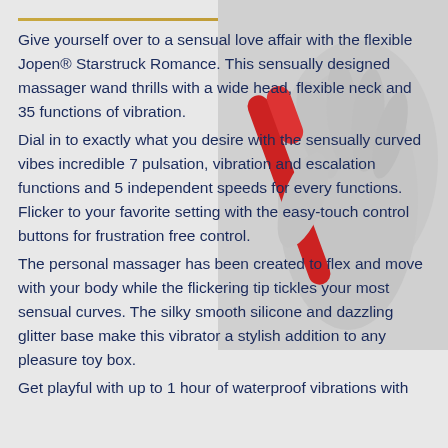[Figure (photo): A hand holding a red vibrator massager against a light gray background, partially visible on the right side of the page.]
Give yourself over to a sensual love affair with the flexible Jopen® Starstruck Romance. This sensually designed massager wand thrills with a wide head, flexible neck and 35 functions of vibration. Dial in to exactly what you desire with the sensually curved vibes incredible 7 pulsation, vibration and escalation functions and 5 independent speeds for every functions. Flicker to your favorite setting with the easy-touch control buttons for frustration free control. The personal massager has been created to flex and move with your body while the flickering tip tickles your most sensual curves. The silky smooth silicone and dazzling glitter base make this vibrator a stylish addition to any pleasure toy box. Get playful with up to 1 hour of waterproof vibrations with